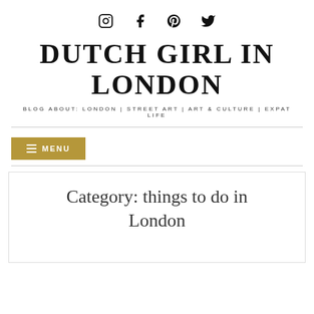[Figure (other): Social media icons: Instagram, Facebook, Pinterest, Twitter]
DUTCH GIRL IN LONDON
BLOG ABOUT: LONDON | STREET ART | ART & CULTURE | EXPAT LIFE
[Figure (other): Navigation menu button with hamburger icon labeled MENU, gold/tan background]
Category: things to do in London